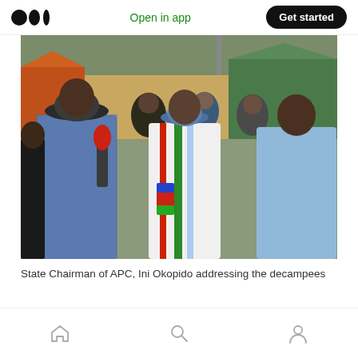Open in app   Get started
[Figure (photo): State Chairman of APC, Ini Okopido addressing the decampees. A man in a blue checkered shirt and dark hat holds a red microphone while speaking to a crowd. Several people stand behind him, one wearing a white party polo shirt with green and red stripes, another wearing a blue cap. An older man in a light blue traditional outfit stands to the right.]
State Chairman of APC, Ini Okopido addressing the decampees
Home  Search  Profile